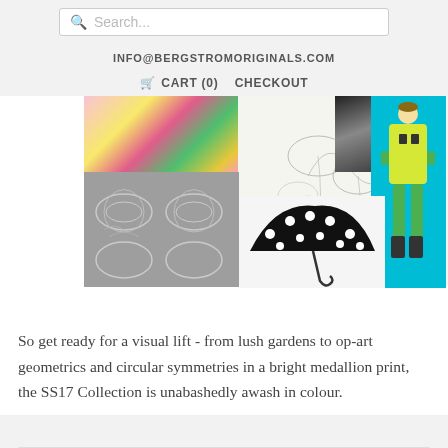Search...
INFO@BERGSTROMORIGINALS.COM
CART (0)   CHECKOUT
[Figure (photo): Collage of images: colorful flowers, pencil sketch of flowers, black and white photo, fashion illustration of a retro-dressed figure in yellow coat with green tights, gray damask fabric pattern, black and white polka dot umbrella.]
So get ready for a visual lift - from lush gardens to op-art geometrics and circular symmetries in a bright medallion print, the SS17 Collection is unabashedly awash in colour.